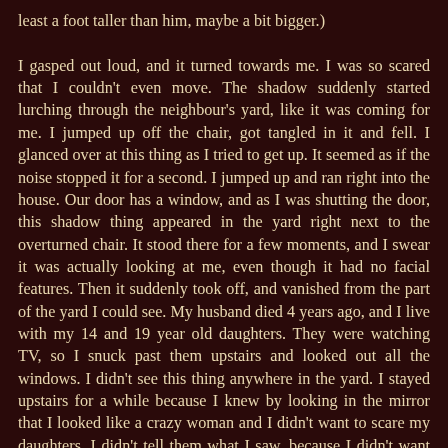least a foot taller than him, maybe a bit bigger.)

I gasped out loud, and it turned towards me. I was so scared that I couldn't even move. The shadow suddenly started lurching through the neighbour's yard, like it was coming for me. I jumped up off the chair, got tangled in it and fell. I glanced over at this thing as I tried to get up. It seemed as if the noise stopped it for a second. I jumped up and ran right into the house. Our door has a window, and as I was shutting the door, this shadow thing appeared in the yard right next to the overturned chair. It stood there for a few moments, and I swear it was actually looking at me, even though it had no facial features. Then it suddenly took off, and vanished from the part of the yard I could see. My husband died 4 years ago, and I live with my 14 and 19 year old daughters. They were watching TV, so I snuck past them upstairs and looked out all the windows. I didn't see this thing anywhere in the yard. I stayed upstairs for a while because I knew by looking in the mirror that I looked like a crazy woman and I didn't want to scare my daughters. I didn't tell them what I saw, because I didn't want them to be scared too. I didn't sleep